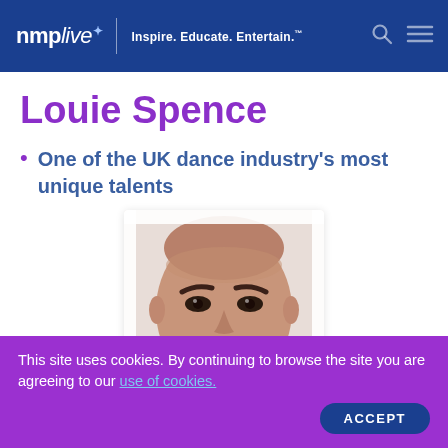nmp live — Inspire. Educate. Entertain.
Louie Spence
One of the UK dance industry's most unique talents
[Figure (photo): Portrait photo of Louie Spence, a bald man with dark eyebrows, looking directly at the camera]
This site uses cookies. By continuing to browse the site you are agreeing to our use of cookies.